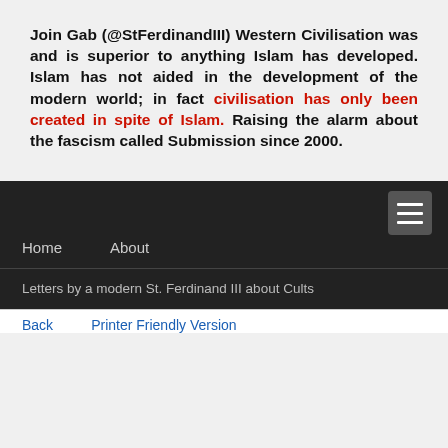Join Gab (@StFerdinandIII) Western Civilisation was and is superior to anything Islam has developed. Islam has not aided in the development of the modern world; in fact civilisation has only been created in spite of Islam. Raising the alarm about the fascism called Submission since 2000.
Home   About
Letters by a modern St. Ferdinand III about Cults
Back   Printer Friendly Version